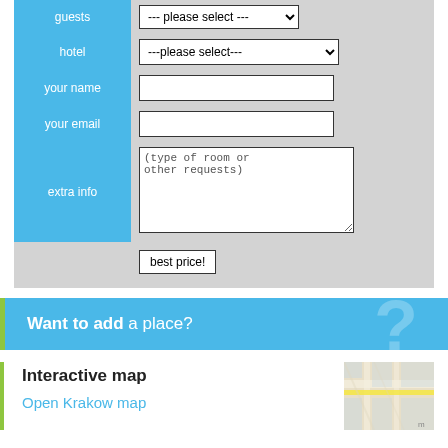[Figure (screenshot): A web form with fields for guests (dropdown), hotel (dropdown), your name (text input), your email (text input), extra info (textarea with placeholder 'type of room or other requests'), and a 'best price!' submit button. Left column labels on blue background, right column inputs on gray background.]
[Figure (infographic): A teal/blue banner with bold white text 'Want to add a place?' and a large faint question mark on the right side. Green left border accent.]
Interactive map
Open Krakow map
[Figure (map): A small thumbnail of an interactive map showing Krakow streets, with a yellow road visible.]